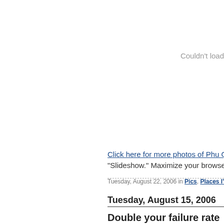Couldn't load
Click here for more photos of Phu Quoc.
"Slideshow."  Maximize your browser win
Tuesday, August 22, 2006 in Pics, Places I've Bee
Tuesday, August 15, 2006
Double your failure rate